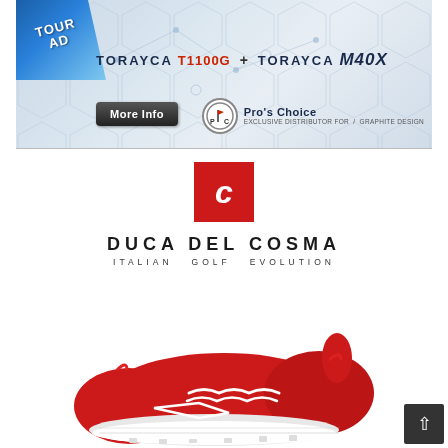[Figure (illustration): Tour AD golf shaft advertisement banner featuring TORAYCA T1100G + TORAYCA M40X branding, More Info button, Pro's Choice distributor logo on a hexagonal pattern background with blue ribbon]
[Figure (logo): Duca del Cosma logo: red square with white italic C, brand name DUCA DEL COSMA, tagline ITALIAN GOLF EVOLUTION]
[Figure (photo): Red and white Duca del Cosma Italian golf shoe with white sole and laces, shown from side angle]